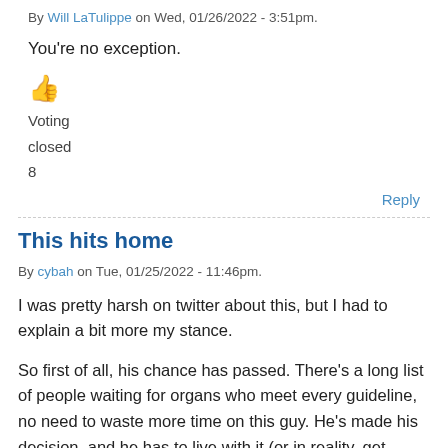By Will LaTulippe on Wed, 01/26/2022 - 3:51pm.
You're no exception.
👍
Voting
closed
8
Reply
This hits home
By cybah on Tue, 01/25/2022 - 11:46pm.
I was pretty harsh on twitter about this, but I had to explain a bit more my stance.
So first of all, his chance has passed. There's a long list of people waiting for organs who meet every guideline, no need to waste more time on this guy. He's made his decision, and he has to live with it (or in reality, get ready to sunset).